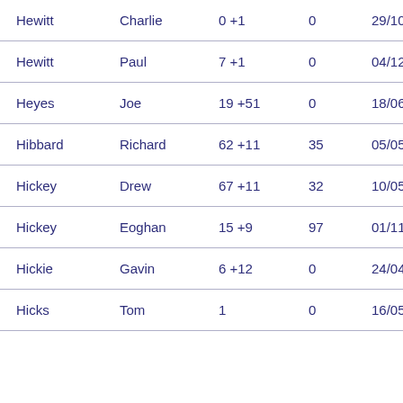| Surname | First name | Apps | Goals | Date |
| --- | --- | --- | --- | --- |
| Hewitt | Charlie | 0 +1 | 0 | 29/10/201... |
| Hewitt | Paul | 7 +1 | 0 | 04/12/199... |
| Heyes | Joe | 19 +51 | 0 | 18/06/202... |
| Hibbard | Richard | 62 +11 | 35 | 05/05/201... |
| Hickey | Drew | 67 +11 | 32 | 10/05/200... |
| Hickey | Eoghan | 15 +9 | 97 | 01/11/200... |
| Hickie | Gavin | 6 +12 | 0 | 24/04/200... |
| Hicks | Tom | 1 | 0 | 16/05/201... |